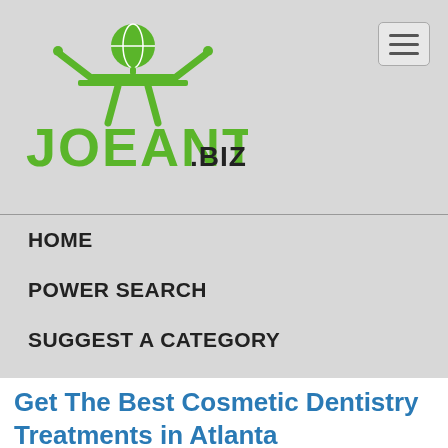[Figure (logo): JoeAnt.biz logo with green figure holding a globe and green text reading JOEANT.BIZ]
[Figure (other): Hamburger menu button (three horizontal lines) in rounded rectangle]
HOME
POWER SEARCH
SUGGEST A CATEGORY
REGISTRATION
Get The Best Cosmetic Dentistry Treatments in Atlanta
[Figure (other): 4 filled blue stars and 1 filled dark/black star rating]
Descriptions